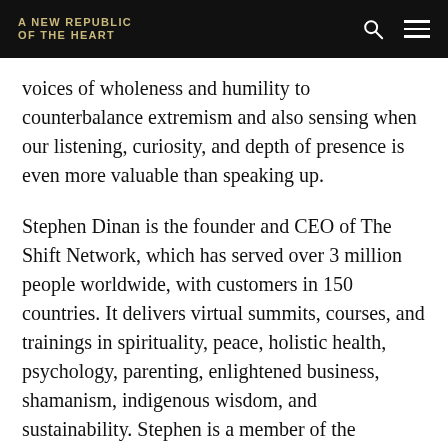A NEW REPUBLIC OF THE HEART
voices of wholeness and humility to counterbalance extremism and also sensing when our listening, curiosity, and depth of presence is even more valuable than speaking up.
Stephen Dinan is the founder and CEO of The Shift Network, which has served over 3 million people worldwide, with customers in 150 countries. It delivers virtual summits, courses, and trainings in spirituality, peace, holistic health, psychology, parenting, enlightened business, shamanism, indigenous wisdom, and sustainability. Stephen is a member of the Transformational Leadership Council and Evolutionary Leaders, he helped